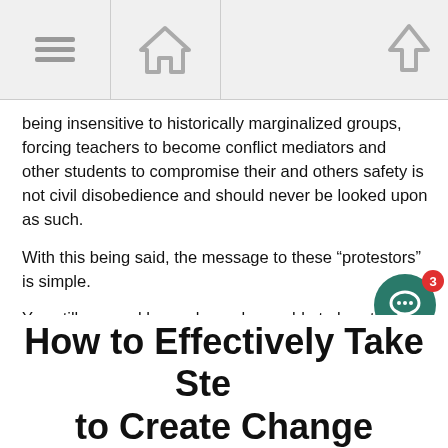[Navigation bar with menu, home, and up icons]
being insensitive to historically marginalized groups, forcing teachers to become conflict mediators and other students to compromise their and others safety is not civil disobedience and should never be looked upon as such.
With this being said, the message to these “protestors” is simple.
You still can and have always been able to breathe. Before you claim to be oppressed or stripped of liberties, learn what being oppressed actually looks like. It is a disgrace to our curriculums and the country for you to evoke traumatic and serious events from history and use them as pathos for your illogical arguments against public safety regulations.
How to Effectively Take Steps to Create Change